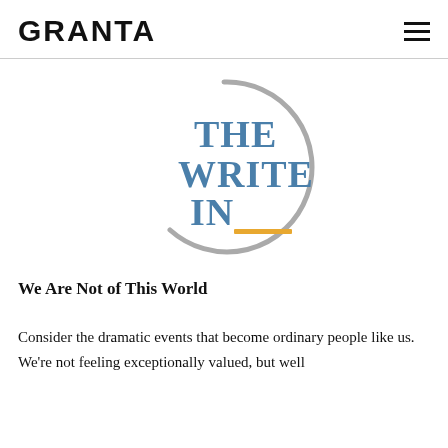GRANTA
[Figure (logo): The Write In logo: a grey circle (open at bottom) with bold blue serif text reading THE WRITE IN, with an orange/gold underline beneath IN]
We Are Not of This World
Consider the dramatic events that become ordinary people like us. We're not feeling exceptionally valued, but well